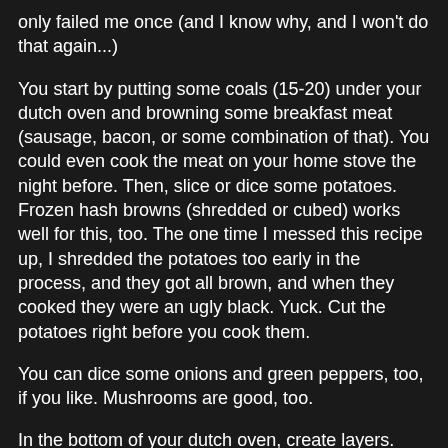only failed me once (and I know why, and I won't do that again...)
You start by putting some coals (15-20) under your dutch oven and browning some breakfast meat (sausage, bacon, or some combination of that). You could even cook the meat on your home stove the night before. Then, slice or dice some potatoes. Frozen hash browns (shredded or cubed) works well for this, too. The one time I messed this recipe up, I shredded the potatoes too early in the process, and they got all brown, and when they cooked they were an ugly black. Yuck. Cut the potatoes right before you cook them.
You can dice some onions and green peppers, too, if you like. Mushrooms are good, too.
In the bottom of your dutch oven, create layers. Start with the potatoes on the bottom, then the meats, then the veggies. Season it with salt, pepper, and anything else you like. (Note from Mark: One time that I did this, I also cooked some fresh spinach and added that as a layer, to give it a "quiche-ish" taste)